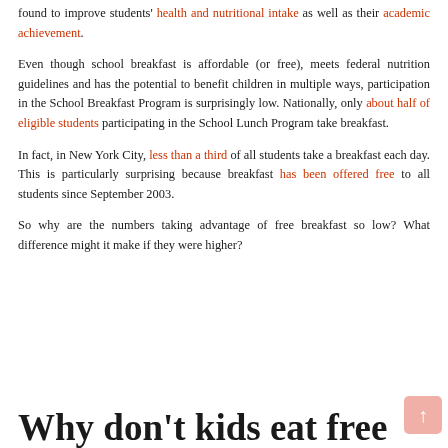found to improve students' health and nutritional intake as well as their academic achievement.
Even though school breakfast is affordable (or free), meets federal nutrition guidelines and has the potential to benefit children in multiple ways, participation in the School Breakfast Program is surprisingly low. Nationally, only about half of eligible students participating in the School Lunch Program take breakfast.
In fact, in New York City, less than a third of all students take a breakfast each day. This is particularly surprising because breakfast has been offered free to all students since September 2003.
So why are the numbers taking advantage of free breakfast so low? What difference might it make if they were higher?
Why don't kids eat free